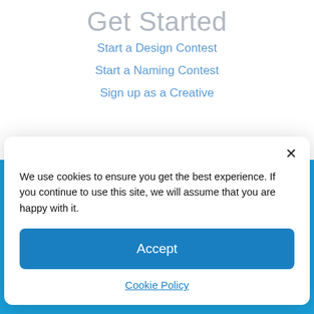Get Started
Start a Design Contest
Start a Naming Contest
Sign up as a Creative
[Figure (logo): batchwise logo text in white on blue background]
We use cookies to ensure you get the best experience. If you continue to use this site, we will assume that you are happy with it.
Accept
Cookie Policy